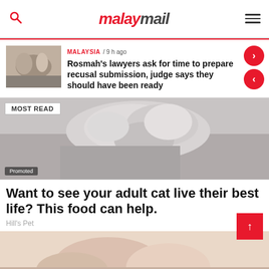malaymail
MALAYSIA / 9 h ago
Rosmah's lawyers ask for time to prepare recusal submission, judge says they should have been ready
MOST READ
[Figure (photo): Photo of a cat lying on its back with paws up, grey/white tones]
Promoted
Want to see your adult cat live their best life? This food can help.
Hill's Pet
[Figure (photo): Close-up photo of hands, pinkish warm tones, partially visible at bottom of page]